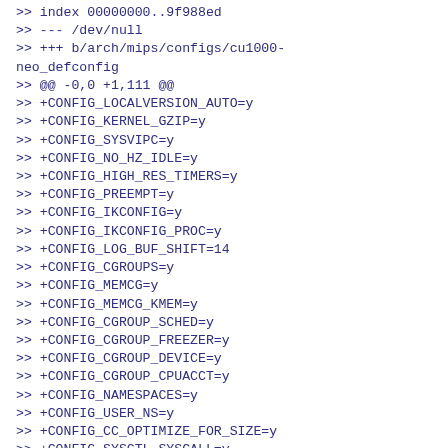>> index 00000000..9f988ed
>> --- /dev/null
>> +++ b/arch/mips/configs/cu1000-neo_defconfig
>> @@ -0,0 +1,111 @@
>> +CONFIG_LOCALVERSION_AUTO=y
>> +CONFIG_KERNEL_GZIP=y
>> +CONFIG_SYSVIPC=y
>> +CONFIG_NO_HZ_IDLE=y
>> +CONFIG_HIGH_RES_TIMERS=y
>> +CONFIG_PREEMPT=y
>> +CONFIG_IKCONFIG=y
>> +CONFIG_IKCONFIG_PROC=y
>> +CONFIG_LOG_BUF_SHIFT=14
>> +CONFIG_CGROUPS=y
>> +CONFIG_MEMCG=y
>> +CONFIG_MEMCG_KMEM=y
>> +CONFIG_CGROUP_SCHED=y
>> +CONFIG_CGROUP_FREEZER=y
>> +CONFIG_CGROUP_DEVICE=y
>> +CONFIG_CGROUP_CPUACCT=y
>> +CONFIG_NAMESPACES=y
>> +CONFIG_USER_NS=y
>> +CONFIG_CC_OPTIMIZE_FOR_SIZE=y
>> +CONFIG_SYSCTL_SYSCALL=y
>> +CONFIG_KALLSYMS_ALL=y
>> +CONFIG_EMBEDDED=y
>> +# CONFIG_VM_EVENT_COUNTERS is not set
>> +# CONFIG_COMPAT_BRK is not set
>> +CONFIG_SLAB